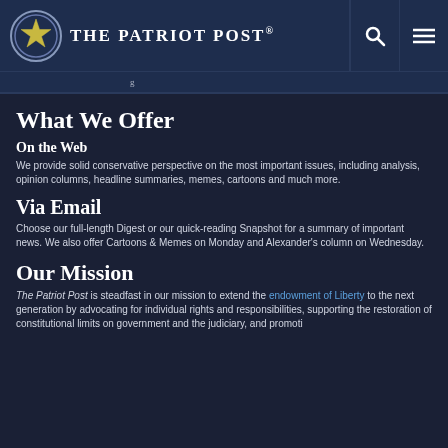The Patriot Post
What We Offer
On the Web
We provide solid conservative perspective on the most important issues, including analysis, opinion columns, headline summaries, memes, cartoons and much more.
Via Email
Choose our full-length Digest or our quick-reading Snapshot for a summary of important news. We also offer Cartoons & Memes on Monday and Alexander's column on Wednesday.
Our Mission
The Patriot Post is steadfast in our mission to extend the endowment of Liberty to the next generation by advocating for individual rights and responsibilities, supporting the restoration of constitutional limits on government and the judiciary, and promoting…